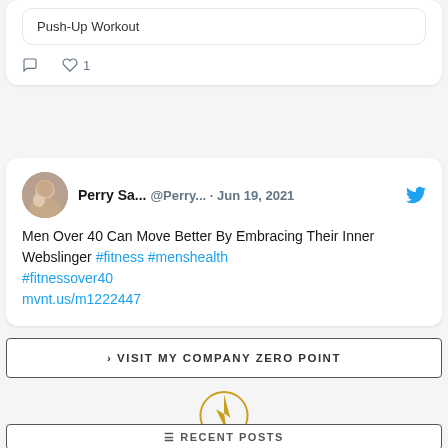Push-Up Workout
comment icon, heart icon 1
Perry Sa... @Perry... · Jun 19, 2021 Men Over 40 Can Move Better By Embracing Their Inner Webslinger #fitness #menshealth #fitnessover40 mvnt.us/m1222447
> VISIT MY COMPANY ZERO POINT
[Figure (logo): Zero Point company logo: golden circle with a stylized arrow/lightning bolt shape inside]
≡ RECENT POSTS